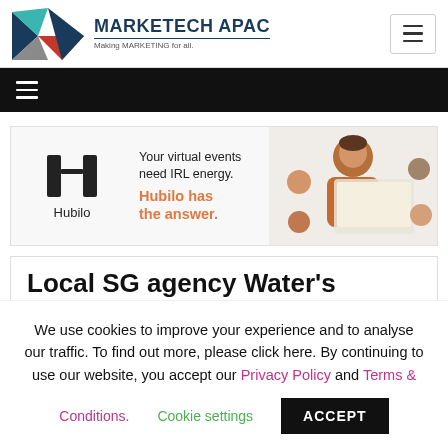[Figure (logo): Marketech APAC logo with geometric M shape in navy, teal, red, gray and text 'MARKETECH APAC' with tagline 'Making MARKETING for all.']
[Figure (screenshot): Black navigation bar with white hamburger menu icon]
[Figure (illustration): Hubilo advertisement banner: Hubilo logo on left, text 'Your virtual events need IRL energy. Hubilo has the answer.' in center, woman with virtual event UI on right]
Local SG agency Water's
We use cookies to improve your experience and to analyse our traffic. To find out more, please click here. By continuing to use our website, you accept our Privacy Policy and Terms & Conditions. Cookie settings ACCEPT